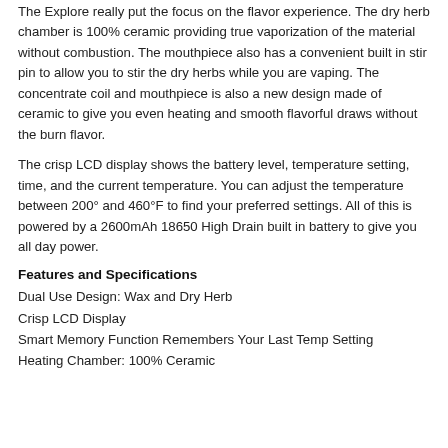The Explore really put the focus on the flavor experience. The dry herb chamber is 100% ceramic providing true vaporization of the material without combustion. The mouthpiece also has a convenient built in stir pin to allow you to stir the dry herbs while you are vaping. The concentrate coil and mouthpiece is also a new design made of ceramic to give you even heating and smooth flavorful draws without the burn flavor.
The crisp LCD display shows the battery level, temperature setting, time, and the current temperature. You can adjust the temperature between 200° and 460°F to find your preferred settings. All of this is powered by a 2600mAh 18650 High Drain built in battery to give you all day power.
Features and Specifications
Dual Use Design:  Wax and Dry Herb
Crisp LCD Display
Smart Memory Function Remembers Your Last Temp Setting
Heating Chamber: 100% Ceramic